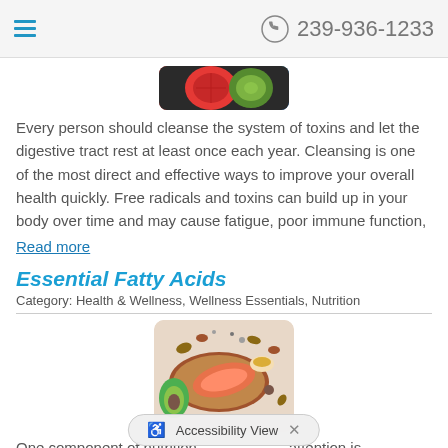239-936-1233
[Figure (photo): Cropped photo of vegetables including tomato and cucumber on dark background]
Every person should cleanse the system of toxins and let the digestive tract rest at least once each year. Cleansing is one of the most direct and effective ways to improve your overall health quickly. Free radicals and toxins can build up in your body over time and may cause fatigue, poor immune function,
Read more
Essential Fatty Acids
Category: Health & Wellness, Wellness Essentials, Nutrition
[Figure (photo): Photo of salmon fillet on wooden cutting board surrounded by avocado, nuts, seeds, and a small bowl of oil — foods rich in essential fatty acids]
One component of nutrition that deserves special attention is